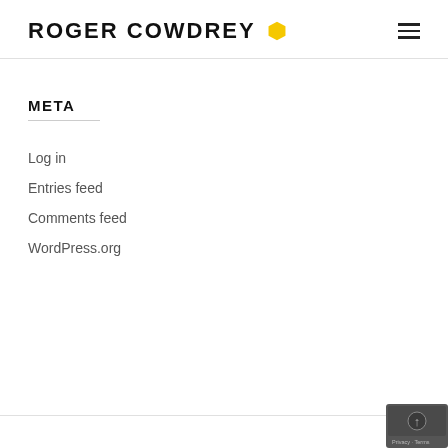ROGER COWDREY
META
Log in
Entries feed
Comments feed
WordPress.org